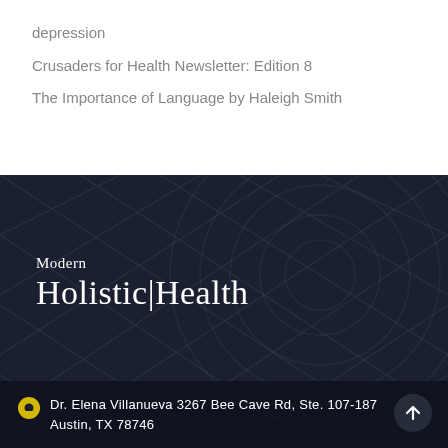depression
Crusaders for Health Newsletter: Edition 8
The Importance of Language by Haleigh Smith
[Figure (logo): Modern Holistic|Health logo on dark navy background with subtle woven texture]
Dr. Elena Villanueva 3267 Bee Cave Rd, Ste. 107-187 Austin, TX 78746